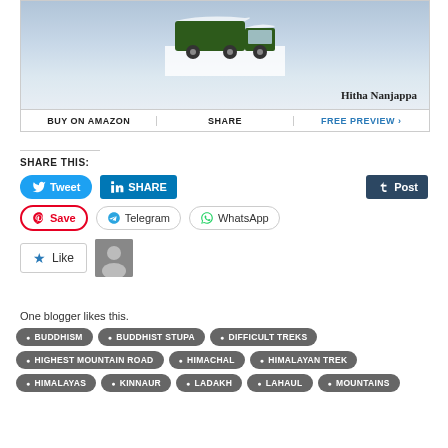[Figure (photo): Book cover or promotional image showing a vehicle in snow with text 'Hitha Nanjappa']
BUY ON AMAZON | SHARE | FREE PREVIEW »
SHARE THIS:
Tweet
SHARE
Post
Save
Telegram
WhatsApp
Like
One blogger likes this.
BUDDHISM
BUDDHIST STUPA
DIFFICULT TREKS
HIGHEST MOUNTAIN ROAD
HIMACHAL
HIMALAYAN TREK
HIMALAYAS
KINNAUR
LADAKH
LAHAUL
MOUNTAINS